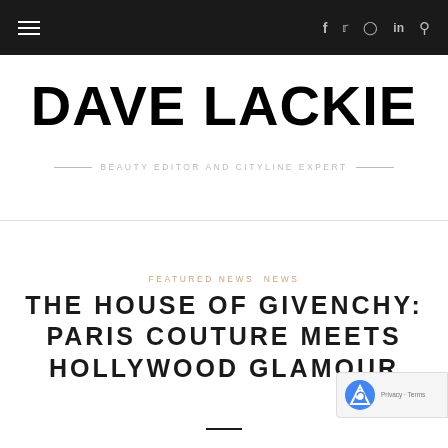Navigation bar with hamburger menu, social icons (f, Twitter, Instagram, in) and search
DAVE LACKIE
BEAUTY EDITOR AND CITYLINE EXPERT
FEATURED NEWS  NEWS
THE HOUSE OF GIVENCHY: PARIS COUTURE MEETS HOLLYWOOD GLAMOUR